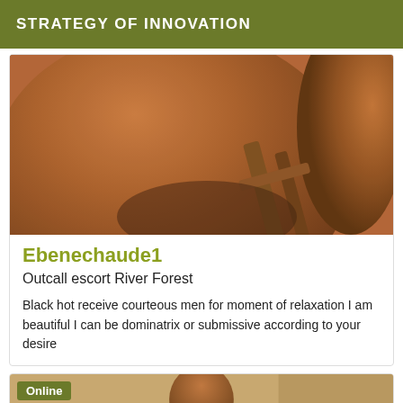STRATEGY OF INNOVATION
[Figure (photo): Close-up photo of a person with dark brown skin, posing near wooden furniture]
Ebenechaude1
Outcall escort River Forest
Black hot receive courteous men for moment of relaxation I am beautiful I can be dominatrix or submissive according to your desire
[Figure (photo): Photo of a person wearing a dark t-shirt with an 'Online' badge overlay in the top-left corner]